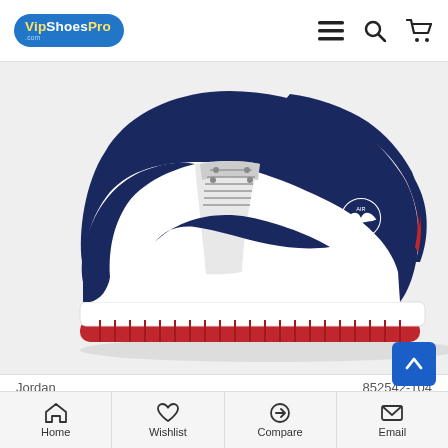VipShoesPro
[Figure (photo): Air Jordan 1 Mid SE sneaker in navy blue, white, and red colorway, side profile view on white/light gray background]
Jordan | 852542-104
Air Jordan 1 Mid SE USA Red White Blue 852542-104 AJ1 Jordan Sneakers
$115.00
Home | Wishlist | Compare | Email